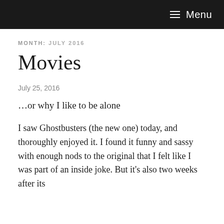≡ Menu
MONTH: JULY 2016
Movies
July 25, 2016
…or why I like to be alone
I saw Ghostbusters (the new one) today, and thoroughly enjoyed it. I found it funny and sassy with enough nods to the original that I felt like I was part of an inside joke. But it's also two weeks after its release and it has already become almost the b…